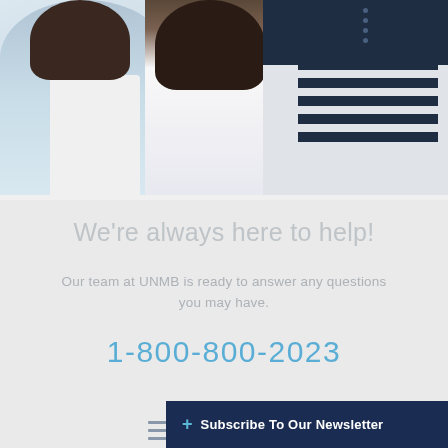[Figure (photo): Group of people including adults and a child in casual clothing, smiling together. One person wears a light blue shirt, another a white top, and a child in a navy striped shirt.]
We're always here to help!
Our team at UNMB is ready to answer any questions you may have.
1-800-800-2023
+ Subscribe To Our Newsletter